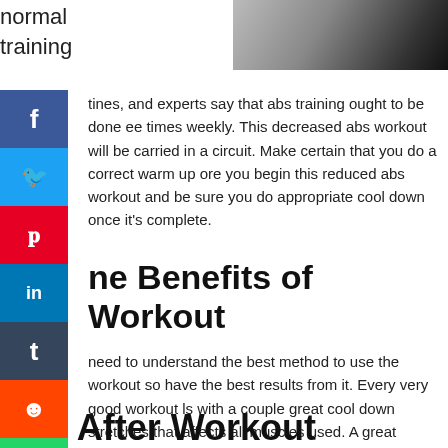normal
training
[Figure (photo): Person in dark clothing, upper body photo]
tines, and experts say that abs training ought to be done ee times weekly. This decreased abs workout will be carried in a circuit. Make certain that you do a correct warm up ore you begin this reduced abs workout and be sure you do appropriate cool down once it's complete.
ne Benefits of Workout
need to understand the best method to use the workout so have the best results from it. Every very good workout ls with a couple great cool down stretches that affects all muscles used. A great cardiovascular workout should nitely elevate your pulse.
Life After Workout